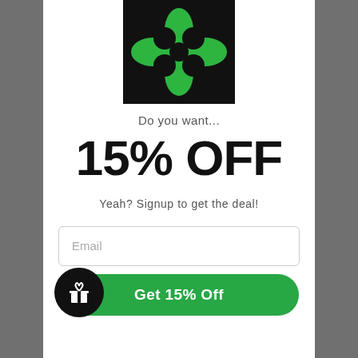[Figure (logo): Black square logo with green four-petal/clover shape - company logo]
Do you want...
15% OFF
Yeah? Signup to get the deal!
Email
Get 15% Off